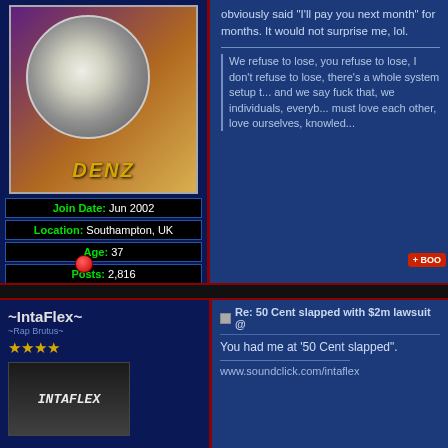[Figure (screenshot): Forum post by DENZ with avatar showing vinyl record with name DENZ, profile info panel]
obviously said "I'll pay you next month" for months. It would not surprise me, lol.
We refuse to lose, you refuse to lose, I don't refuse to lose, there's a whole system setup t... and we say fuck that, we individuals, everyb... must love each other, love ourselves, knowled...
| Join Date: | Jun 2002 |
| Location: | Southampton, UK |
| Age: | 37 |
| Posts: | 2,816 |
| EW Cash: | 411395.00 |
| Rep Power: | 365 |
~IntaFlex~
Re: 50 Cent slapped with $2m lawsuit @
You had me at '50 Cent slapped".
www.soundclick.com/intaflex